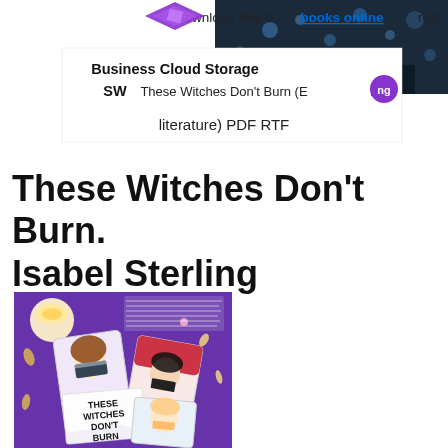[Figure (screenshot): Website banner with purple diamond logo, dark photo background on right side, white overlay box showing 'Business Cloud Storage' and 'SW' labels, and text 'Download free books online android' and 'These Witches Don't Burn (English literature) PDF RTF' with a purple circle icon]
These Witches Don't Burn. Isabel Sterling
[Figure (photo): Book cover of 'These Witches Don't Burn' by Isabel Sterling, showing illustrated tarot-card style images of three young women on a purple background with scattered items like a candle, crystals, and seeds]